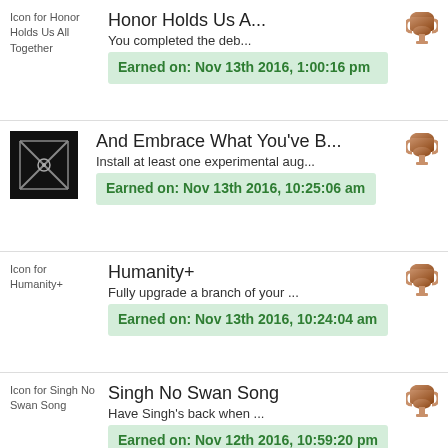Honor Holds Us A... | You completed the deb... | Earned on: Nov 13th 2016, 1:00:16 pm
And Embrace What You've B... | Install at least one experimental aug... | Earned on: Nov 13th 2016, 10:25:06 am
Humanity+ | Fully upgrade a branch of your ... | Earned on: Nov 13th 2016, 10:24:04 am
Singh No Swan Song | Have Singh's back when ... | Earned on: Nov 12th 2016, 10:59:20 pm